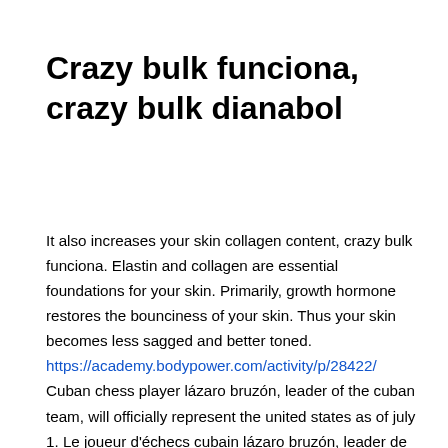Crazy bulk funciona, crazy bulk dianabol
It also increases your skin collagen content, crazy bulk funciona. Elastin and collagen are essential foundations for your skin. Primarily, growth hormone restores the bounciness of your skin. Thus your skin becomes less sagged and better toned. https://academy.bodypower.com/activity/p/28422/ Cuban chess player lázaro bruzón, leader of the cuban team, will officially represent the united states as of july 1. Le joueur d'échecs cubain lázaro bruzón, leader de l'équipe cubaine, représentera officiellement les états-unis à partir du 1er juillet. We would like to show you a description here but the site won't allow us. We would